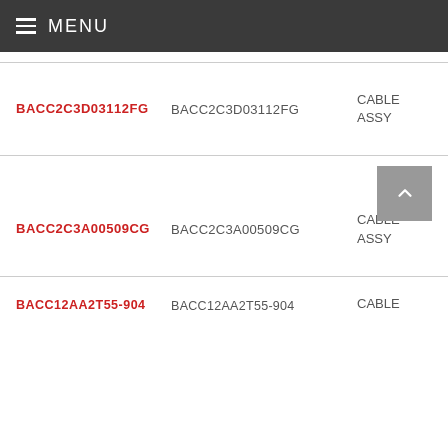MENU
BACC2C3D03112FG | BACC2C3D03112FG | CABLE ASSY
BACC2C3A00509CG | BACC2C3A00509CG | CABLE ASSY
BACC12AA2T55-904 | BACC12AA2T55-904 | CABLE